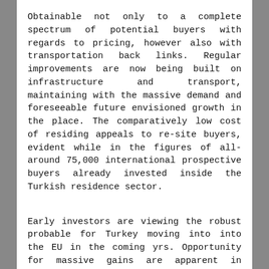Obtainable not only to a complete spectrum of potential buyers with regards to pricing, however also with transportation back links. Regular improvements are now being built on infrastructure and transport, maintaining with the massive demand and foreseeable future envisioned growth in the place. The comparatively low cost of residing appeals to re-site buyers, evident while in the figures of all-around 75,000 international prospective buyers already invested inside the Turkish residence sector.
Early investors are viewing the robust probable for Turkey moving into into the EU in the coming yrs. Opportunity for massive gains are apparent in sturdy rising markets for example Turkey. Destinations such as Bodrum and Kusadasi are presently exhibiting unbelievable demand, with populations expanding 10-fold in the summertime months as most popular holiday getaway Locations. Funds appreciation and rental returns are solid, given that the locations